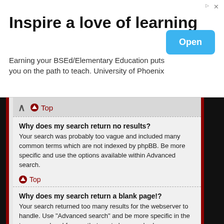[Figure (other): Advertisement banner: 'Inspire a love of learning' - University of Phoenix BSEd/Elementary Education ad with Open button]
Top
Why does my search return no results?
Your search was probably too vague and included many common terms which are not indexed by phpBB. Be more specific and use the options available within Advanced search.
Top
Why does my search return a blank page!?
Your search returned too many results for the webserver to handle. Use "Advanced search" and be more specific in the terms used and forums that are to be searched.
Top
How do I search for members?
Visit to the "Members" page and click the "Find a member" link.
Top